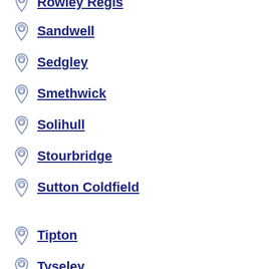Rowley Regis
Sandwell
Sedgley
Smethwick
Solihull
Stourbridge
Sutton Coldfield
Tipton
Tyseley
Walsall
Wednesbury
West Bromwich
Willenhall